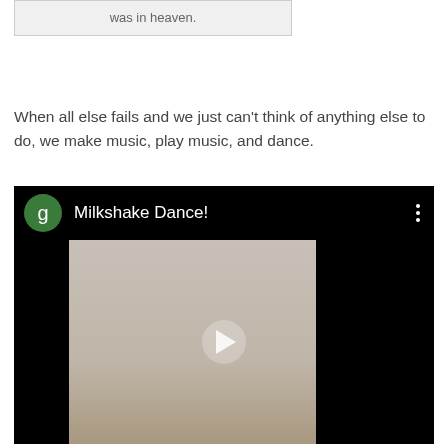was in heaven.
When all else fails and we just can't think of anything else to do, we make music, play music, and dance.
[Figure (screenshot): Embedded video thumbnail showing 'Milkshake Dance!' with a green avatar icon with letter 'g', video title text, a three-dot menu icon, and a video frame showing two children in a room with a white crib. A play button is overlaid in the center of the video.]